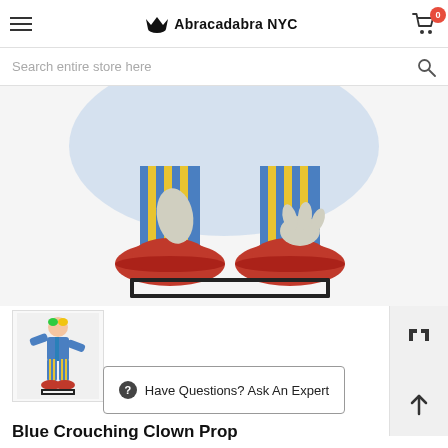Abracadabra NYC
Search entire store here
[Figure (photo): Close-up of crouching clown prop showing large red shoes, striped blue/yellow/red pants, grey hands, and black metal stand/base]
[Figure (photo): Small thumbnail of the full Blue Crouching Clown Prop showing a crouching clown with green/yellow hair, blue costume, and red shoes on a black stand]
Have Questions? Ask An Expert
Blue Crouching Clown Prop